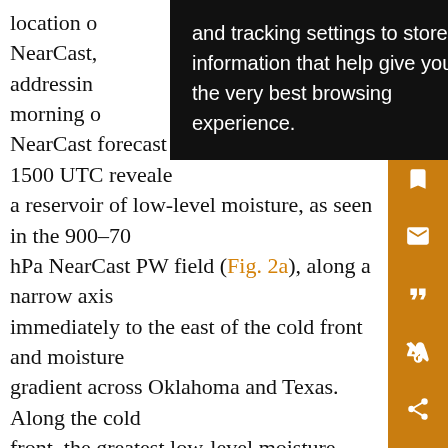location of NearCast, addressing the morning of NearCast forecast cycle initialized at 1500 UTC revealed a reservoir of low-level moisture, as seen in the 900–700 hPa NearCast PW field (Fig. 2a), along a narrow axis immediately to the east of the cold front and moisture gradient across Oklahoma and Texas. Along the cold front, the greatest low-level moisture (>0.5 in. 900–700 hPa PW) in the NearCast analysis was located from near Lawton, Oklahoma, southwestward through the Red River valley, and into north-central Texas (Fig. 2a). Although the northeastward extent of the greater low-level PW frontal axis was located near Lawton, the strongest midlevel convective instability (500–780-hPa θ_e
and tracking settings to store information that help give you the very best browsing experience.